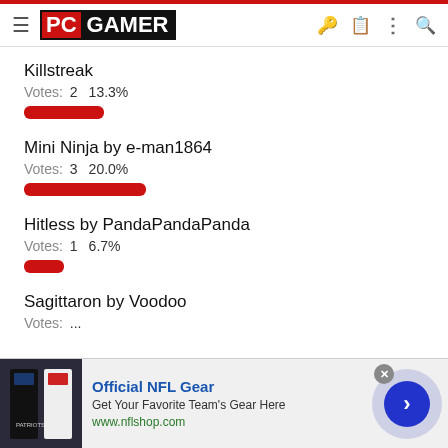PC GAMER
Killstreak
Votes: 2  13.3%
Mini Ninja by e-man1864
Votes: 3  20.0%
Hitless by PandaPandaPanda
Votes: 1  6.7%
Sagittaron by Voodoo
[Figure (screenshot): Advertisement banner for Official NFL Gear showing football jerseys, with text 'Official NFL Gear - Get Your Favorite Team's Gear Here - www.nflshop.com' and a blue arrow button]